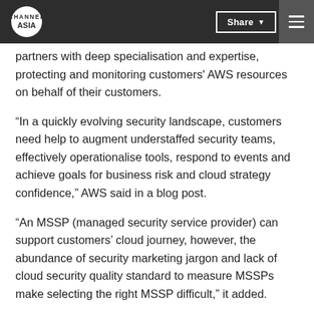CHANNEL ASIA | Share | Menu
partners with deep specialisation and expertise, protecting and monitoring customers' AWS resources on behalf of their customers.
“In a quickly evolving security landscape, customers need help to augment understaffed security teams, effectively operationalise tools, respond to events and achieve goals for business risk and cloud strategy confidence,” AWS said in a blog post.
“An MSSP (managed security service provider) can support customers’ cloud journey, however, the abundance of security marketing jargon and lack of cloud security quality standard to measure MSSPs make selecting the right MSSP difficult,” it added.
The new program sees managed cloud security start at